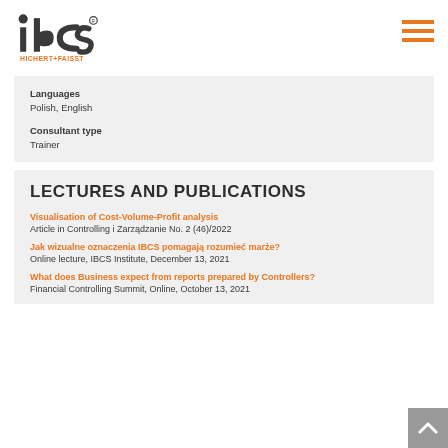[Figure (logo): IBCS Hichert+Faisst logo with stylized 'ibcs' lettering and 'HICHERT+FAISST' text in orange]
Languages
Polish, English
Consultant type
Trainer
LECTURES AND PUBLICATIONS
Visualisation of Cost-Volume-Profit analysis
Article in Controlling i Zarządzanie No. 2 (46)/2022
Jak wizualne oznaczenia IBCS pomagają rozumieć marże?
Online lecture, IBCS Institute, December 13, 2021
What does Business expect from reports prepared by Controllers?
Financial Controlling Summit, Online, October 13, 2021